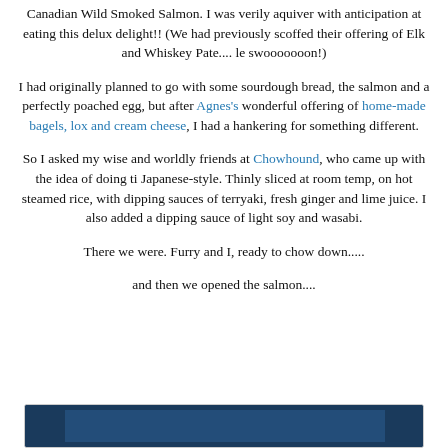Canadian Wild Smoked Salmon. I was verily aquiver with anticipation at eating this delux delight!! (We had previously scoffed their offering of Elk and Whiskey Pate.... le swooooooon!)
I had originally planned to go with some sourdough bread, the salmon and a perfectly poached egg, but after Agnes's wonderful offering of home-made bagels, lox and cream cheese, I had a hankering for something different.
So I asked my wise and worldly friends at Chowhound, who came up with the idea of doing ti Japanese-style. Thinly sliced at room temp, on hot steamed rice, with dipping sauces of terryaki, fresh ginger and lime juice. I also added a dipping sauce of light soy and wasabi.
There we were. Furry and I, ready to chow down.....
and then we opened the salmon....
[Figure (photo): Partial view of a dark blue/teal image at the bottom of the page, likely a photo of the salmon package or food.]